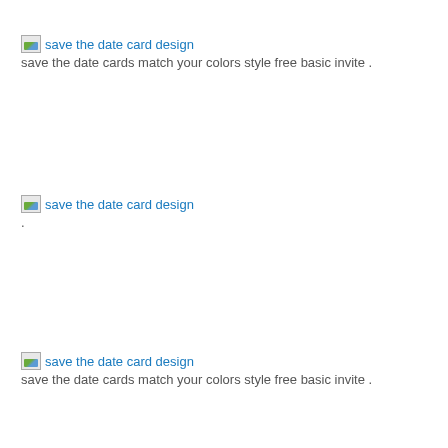[Figure (other): Broken image placeholder for save the date card design link]
save the date cards match your colors style free basic invite .
[Figure (other): Broken image placeholder for save the date card design link]
.
[Figure (other): Broken image placeholder for save the date card design link]
save the date cards match your colors style free basic invite .